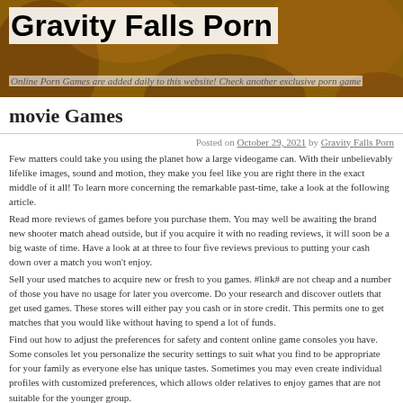Gravity Falls Porn
Online Porn Games are added daily to this website! Check another exclusive porn game
movie Games
Posted on October 29, 2021 by Gravity Falls Porn
Few matters could take you using the planet how a large videogame can. With their unbelievably lifelike images, sound and motion, they make you feel like you are right there in the exact middle of it all! To learn more concerning the remarkable past-time, take a look at the following article.
Read more reviews of games before you purchase them. You may well be awaiting the brand new shooter match ahead outside, but if you acquire it with no reading reviews, it will soon be a big waste of time. Have a look at at three to four five reviews previous to putting your cash down over a match you won't enjoy.
Sell your used matches to acquire new or fresh to you games. #link# are not cheap and a number of those you have no usage for later you overcome. Do your research and discover outlets that get used games. These stores will either pay you cash or in store credit. This permits one to get matches that you would like without having to spend a lot of funds.
Find out how to adjust the preferences for safety and content online game consoles you have. Some consoles let you personalize the security settings to suit what you find to be appropriate for your family as everyone else has unique tastes. Sometimes you may even create individual profiles with customized preferences, which allows older relatives to enjoy games that are not suitable for the younger group.
If you have not been able to maximize your video gaming experience as of yet, this article surely indicates you how! Try out these tips and tricks out the next time you sit down to play and absolutely drop yourself into the other galaxy, dimension or enjoyable existence which just does not happen to be your life !
Buying the ideal console for the gambling preferences might be signature. At first, you